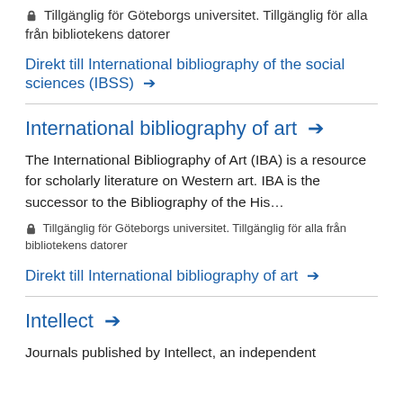🔒 Tillgänglig för Göteborgs universitet. Tillgänglig för alla från bibliotekens datorer
Direkt till International bibliography of the social sciences (IBSS) →
International bibliography of art →
The International Bibliography of Art (IBA) is a resource for scholarly literature on Western art. IBA is the successor to the Bibliography of the His…
🔒 Tillgänglig för Göteborgs universitet. Tillgänglig för alla från bibliotekens datorer
Direkt till International bibliography of art →
Intellect →
Journals published by Intellect, an independent